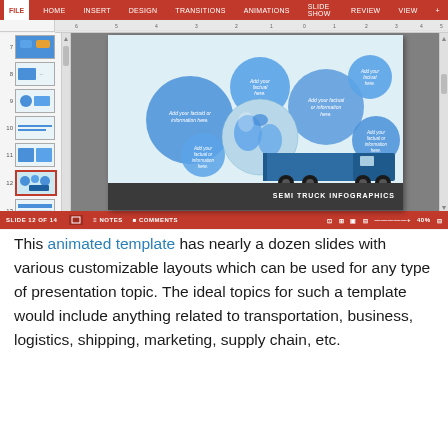[Figure (screenshot): Screenshot of Microsoft PowerPoint showing slide 12 of 14 with a Semi Truck Infographics template slide. The slide features a blue globe, a blue semi truck, and multiple blue circular callout bubbles with placeholder text 'Add your factual or information here.' The slide panel on the left shows thumbnails for slides 7-14, with slide 12 highlighted with a red border. The ribbon at the top shows FILE, HOME, INSERT, DESIGN, TRANSITIONS, ANIMATIONS, SLIDE SHOW, REVIEW, VIEW tabs. The status bar at the bottom reads 'SLIDE 12 OF 14' with NOTES and COMMENTS buttons, and a zoom level of 40%.]
This animated template has nearly a dozen slides with various customizable layouts which can be used for any type of presentation topic. The ideal topics for such a template would include anything related to transportation, business, logistics, shipping, marketing, supply chain, etc.